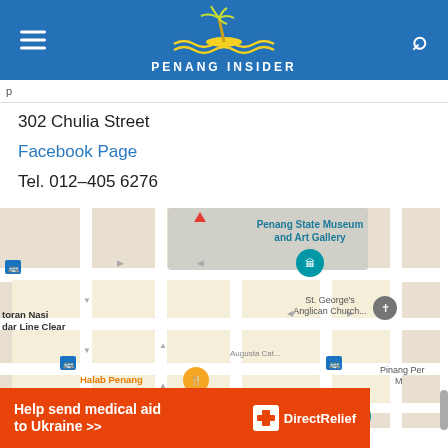PENANG INSIDER
302 Chulia Street
Facebook Page
Tel. 012–405 6276
[Figure (map): Google Maps screenshot showing area around Chulia Street, Penang. Landmarks visible: Penang State Museum and Art Gallery, St. George's Anglican Church, Halab Penang restaurant, Penang Little India, Pinang Peranakan Mansion, Pasta Market, Restoran Nasi Kandar Line Clear. Bus stop icons visible throughout.]
Help send medical aid to Ukraine >> Direct Relief